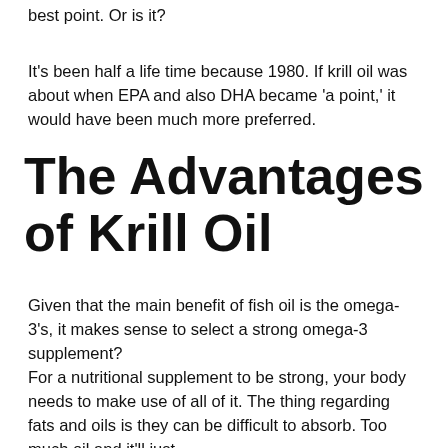best point. Or is it?
It's been half a life time because 1980. If krill oil was about when EPA and also DHA became 'a point,' it would have been much more preferred.
The Advantages of Krill Oil
Given that the main benefit of fish oil is the omega-3's, it makes sense to select a strong omega-3 supplement?
For a nutritional supplement to be strong, your body needs to make use of all of it. The thing regarding fats and oils is they can be difficult to absorb. Too much oil and it'll just